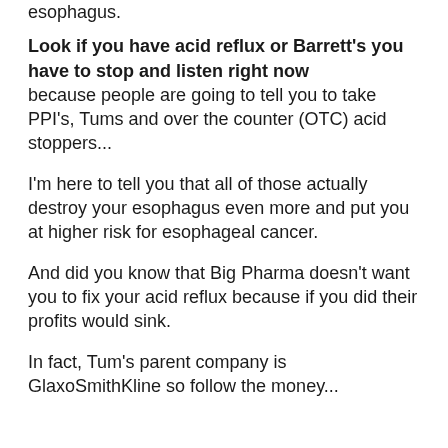esophagus.
Look if you have acid reflux or Barrett's you have to stop and listen right now
because people are going to tell you to take PPI's, Tums and over the counter (OTC) acid stoppers...
I'm here to tell you that all of those actually destroy your esophagus even more and put you at higher risk for esophageal cancer.
And did you know that Big Pharma doesn't want you to fix your acid reflux because if you did their profits would sink.
In fact, Tum's parent company is GlaxoSmithKline so follow the money...